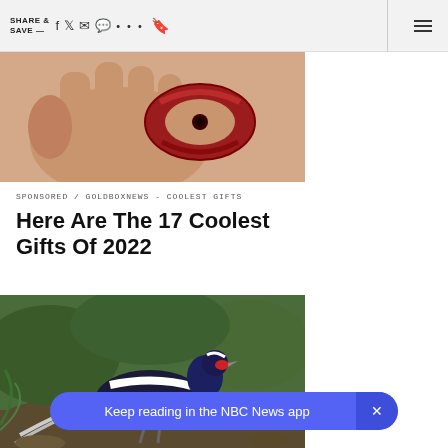SHARE & SAVE —
[Figure (photo): Close-up of a hand holding a red anodized aluminum carabiner or clip device]
SPONSORED / GOLDBOXNEWS - COOLEST GIFTS
Here Are The 17 Coolest Gifts Of 2022
[Figure (photo): A dark-plumaged pheasant bird standing in a natural outdoor setting with green foliage in the background]
Keep reading in the NBC News app  ×